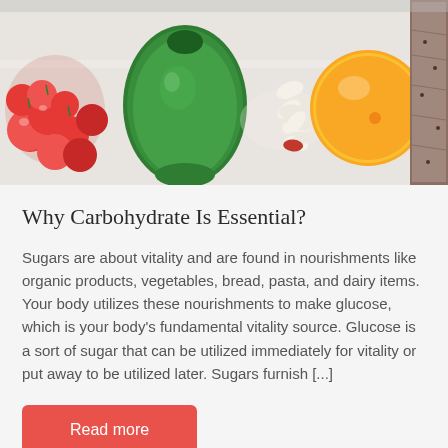[Figure (photo): Top-down photo of various foods on a light surface: cherry tomatoes, a green avocado, white beans/seeds, a yellow lemon/citrus fruit, and whole grain bread/crackers]
Why Carbohydrate Is Essential?
Sugars are about vitality and are found in nourishments like organic products, vegetables, bread, pasta, and dairy items. Your body utilizes these nourishments to make glucose, which is your body’s fundamental vitality source. Glucose is a sort of sugar that can be utilized immediately for vitality or put away to be utilized later. Sugars furnish …]
Read more